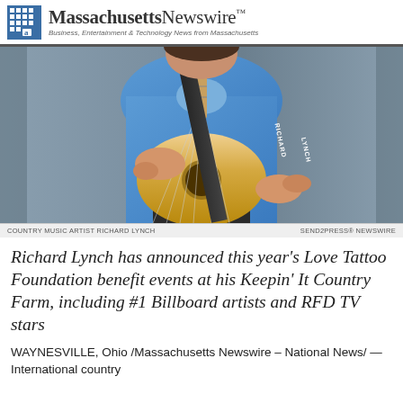Massachusetts Newswire™ — Business, Entertainment & Technology News from Massachusetts
[Figure (photo): Country music artist Richard Lynch holding an acoustic guitar, wearing a blue shirt, with a guitar strap reading 'Richard Lynch']
COUNTRY MUSIC ARTIST RICHARD LYNCH | Send2Press® Newswire
Richard Lynch has announced this year's Love Tattoo Foundation benefit events at his Keepin' It Country Farm, including #1 Billboard artists and RFD TV stars
WAYNESVILLE, Ohio /Massachusetts Newswire – National News/ — International country